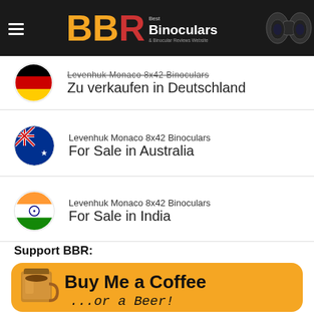BBR Best Binoculars & Binocular Reviews Website
Levenhuk Monaco 8x42 Binoculars
Zu verkaufen in Deutschland
Levenhuk Monaco 8x42 Binoculars
For Sale in Australia
Levenhuk Monaco 8x42 Binoculars
For Sale in India
Support BBR:
[Figure (infographic): Buy Me a Coffee ...or a Beer! orange banner with coffee cup icon]